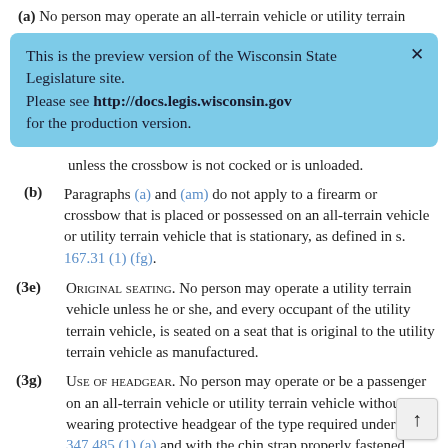(a) No person may operate an all-terrain vehicle or utility terrain
[Figure (screenshot): Preview banner: 'This is the preview version of the Wisconsin State Legislature site. Please see http://docs.legis.wisconsin.gov for the production version.' with a close X button, on a light blue background.]
unless the crossbow is not cocked or is unloaded.
(b) Paragraphs (a) and (am) do not apply to a firearm or crossbow that is placed or possessed on an all-terrain vehicle or utility terrain vehicle that is stationary, as defined in s. 167.31 (1) (fg).
(3e) ORIGINAL SEATING. No person may operate a utility terrain vehicle unless he or she, and every occupant of the utility terrain vehicle, is seated on a seat that is original to the utility terrain vehicle as manufactured.
(3g) USE OF HEADGEAR. No person may operate or be a passenger on an all-terrain vehicle or utility terrain vehicle without wearing protective headgear of the type required under s. 347.485 (1) (a) and with the chin strap properly fastened, unless one of the following applies:
(a) The person is at least 18 years of age.
(b) The person is traveling for the purposes of hunting or fishing and is at least 12 years of age.
(c) The all-terrain vehicle or utility terrain vehicle is being